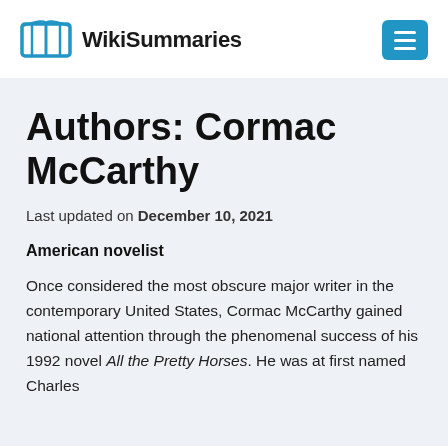WikiSummaries
Authors: Cormac McCarthy
Last updated on December 10, 2021
American novelist
Once considered the most obscure major writer in the contemporary United States, Cormac McCarthy gained national attention through the phenomenal success of his 1992 novel All the Pretty Horses. He was at first named Charles